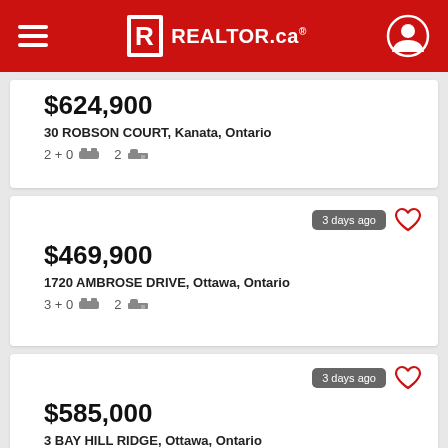REALTOR.ca
$624,900 — 30 ROBSON COURT, Kanata, Ontario — 2+0 beds, 2 baths
3 days ago — $469,900 — 1720 AMBROSE DRIVE, Ottawa, Ontario — 3+0 beds, 2 baths
3 days ago — $585,000 — 3 BAY HILL RIDGE, Ottawa, Ontario — 2+0 beds, 2 baths